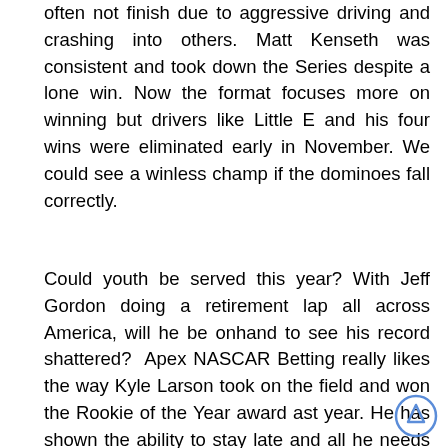often not finish due to aggressive driving and crashing into others. Matt Kenseth was consistent and took down the Series despite a lone win. Now the format focuses more on winning but drivers like Little E and his four wins were eliminated early in November. We could see a winless champ if the dominoes fall correctly.
Could youth be served this year? With Jeff Gordon doing a retirement lap all across America, will he be onhand to see his record shattered? Apex NASCAR Betting really likes the way Kyle Larson took on the field and won the Rookie of the Year award ast year. He has shown the ability to stay late and all he needs to do is to learn how to win. With a few more seconds, he will cash it in